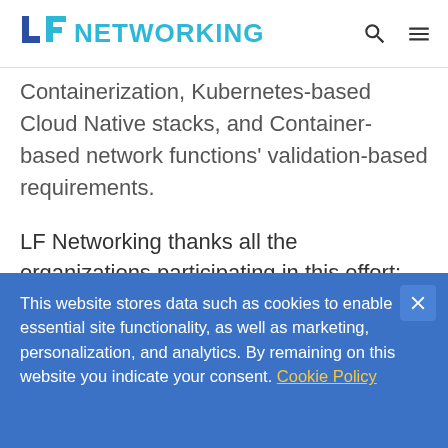LF NETWORKING
Containerization, Kubernetes-based Cloud Native stacks, and Container-based network functions' validation-based requirements.
LF Networking thanks all the organizations participating in this effort: A10 Networks, Alibaba, Altran, China Mobile, Commscope,
This website stores data such as cookies to enable essential site functionality, as well as marketing, personalization, and analytics. By remaining on this website you indicate your consent. Cookie Policy